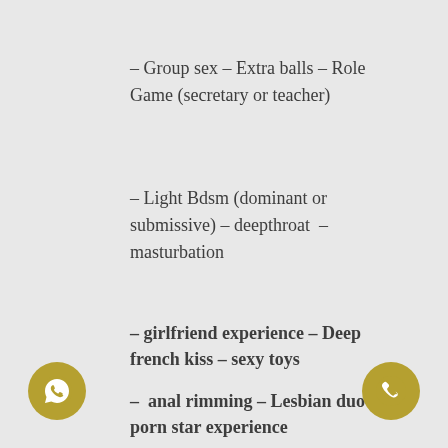– Group sex – Extra balls – Role Game (secretary or teacher)
– Light Bdsm (dominant or submissive) – deepthroat  – masturbation
– girlfriend experience – Deep french kiss – sexy toys
–  anal rimming – Lesbian duo– porn star experience
[Figure (logo): WhatsApp logo icon in gold circle, bottom left]
[Figure (logo): Phone call icon in gold circle, bottom right]